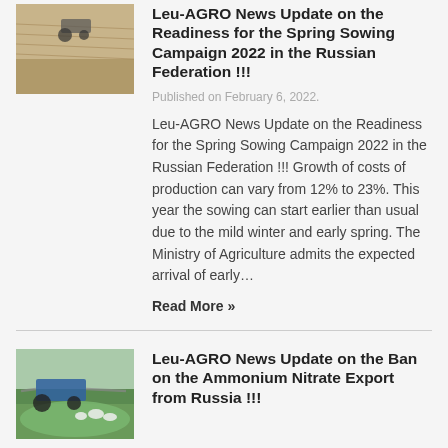[Figure (photo): Aerial/field view of plowing/sowing activity in a field]
Leu-AGRO News Update on the Readiness for the Spring Sowing Campaign 2022 in the Russian Federation !!!
Published on February 6, 2022.
Leu-AGRO News Update on the Readiness for the Spring Sowing Campaign 2022 in the Russian Federation !!! Growth of costs of production can vary from 12% to 23%. This year the sowing can start earlier than usual due to the mild winter and early spring. The Ministry of Agriculture admits the expected arrival of early…
Read More »
[Figure (photo): Agricultural machinery (tractor/sprayer) with sheep in field]
Leu-AGRO News Update on the Ban on the Ammonium Nitrate Export from Russia !!!